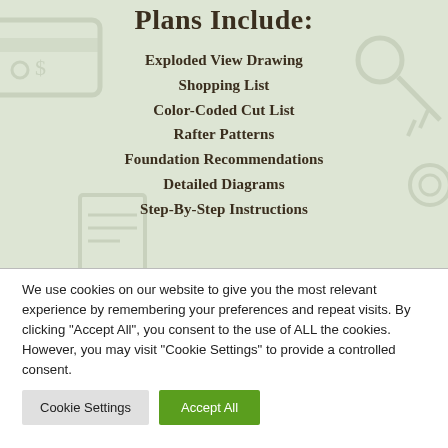Plans Include:
Exploded View Drawing
Shopping List
Color-Coded Cut List
Rafter Patterns
Foundation Recommendations
Detailed Diagrams
Step-By-Step Instructions
We use cookies on our website to give you the most relevant experience by remembering your preferences and repeat visits. By clicking "Accept All", you consent to the use of ALL the cookies. However, you may visit "Cookie Settings" to provide a controlled consent.
Cookie Settings | Accept All